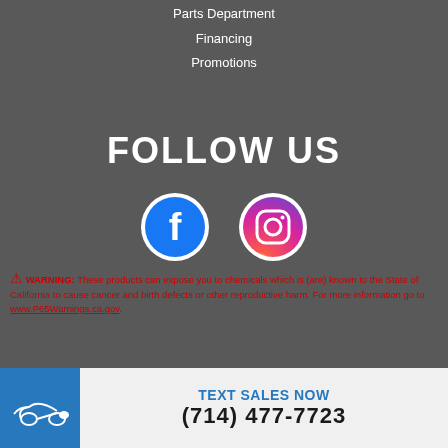Parts Department
Financing
Promotions
FOLLOW US
[Figure (logo): Facebook circular icon with white 'f' on dark background]
[Figure (logo): Instagram circular icon with camera graphic]
⚠ WARNING: These products can expose you to chemicals which is (are) known to the State of California to cause cancer and birth defects or other reproductive harm. For more information go to www.P65Warnings.ca.gov.
TEXT SALES NOW
(714) 477-7723